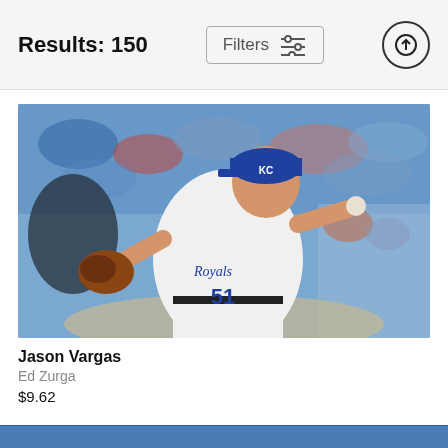Results: 150
Filters
[Figure (photo): Kansas City Royals pitcher Jason Vargas in a white Royals uniform number 51, winding up to throw a pitch, wearing a blue cap and brown catcher's mitt, with a blurred stadium crowd in the background]
Jason Vargas
Ed Zurga
$9.62